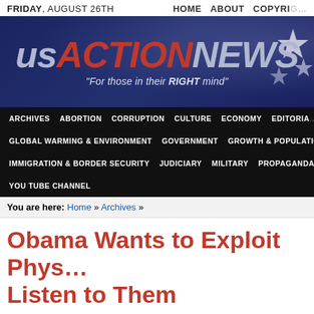FRIDAY, AUGUST 26TH  HOME  ABOUT  COPYRIGHT
[Figure (illustration): US Action News banner with dark blue background featuring American flag stars, large italic text 'usACTIONNEWS' with 'us' and 'NEWS' in grey-blue and 'ACTION' in red, tagline 'For those in their RIGHT mind']
ARCHIVES  ABORTION  CORRUPTION  CULTURE  ECONOMY  EDITORIALS  GLOBAL WARMING & ENVIRONMENT  GOVERNMENT  GROWTH & POPULATION  IMMIGRATION & BORDER SECURITY  JUDICIARY  MILITARY  PROPAGANDA  YOU TUBE CHANNEL
You are here: Home » Archives »
Obama Wants to Exploit Phys… Listen to Them
MARCH 12, 2010 07:11